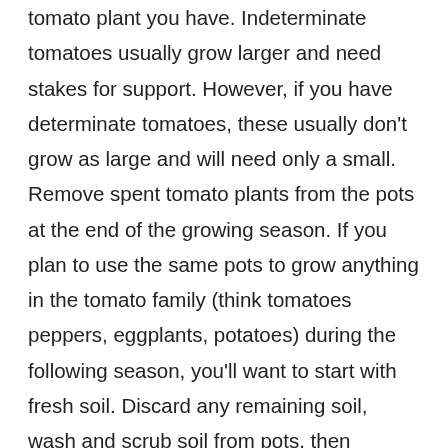Before you install supports, figure out which kind of tomato plant you have. Indeterminate tomatoes usually grow larger and need stakes for support. However, if you have determinate tomatoes, these usually don't grow as large and will need only a small. Remove spent tomato plants from the pots at the end of the growing season. If you plan to use the same pots to grow anything in the tomato family (think tomatoes peppers, eggplants, potatoes) during the following season, you'll want to start with fresh soil. Discard any remaining soil, wash and scrub soil from pots, then sterilize them by. Sow in small pots indoors, using a propagator or place the pots in a plastic bag and keep on the windowsill. The young seedlings need to be kept at around 18°C (64°F). Transplant into 9cm (3½in) pots when two true leaves have formed. You can buy tomato seedlings from garden